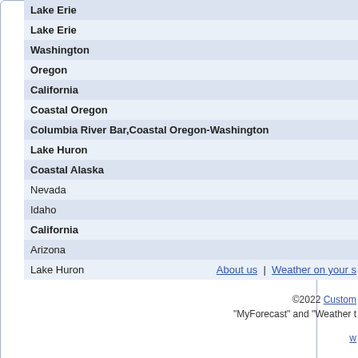| Location | Status |
| --- | --- |
| Lake Erie | Mar... |
| Lake Erie | Mar... |
| Washington | Red... |
| Oregon | Red... |
| California | Red... |
| Coastal Oregon | Non... |
| Columbia River Bar,Coastal Oregon-Washington | Non... |
| Lake Huron | Non... |
| Coastal Alaska | Non... |
| Nevada | Non... |
| Idaho | Non... |
| California | Non... |
| Arizona | Non... |
| Lake Huron | Non... |
Back to Top
About us | Weather on your s
©2022 Custom... "MyForecast" and "Weather t
w...